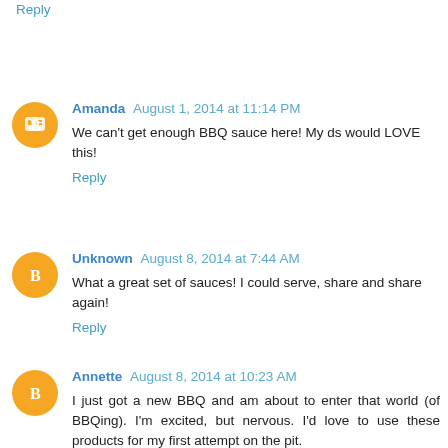Reply
Amanda August 1, 2014 at 11:14 PM
We can't get enough BBQ sauce here! My ds would LOVE this!
Reply
Unknown August 8, 2014 at 7:44 AM
What a great set of sauces! I could serve, share and share again!
Reply
Annette August 8, 2014 at 10:23 AM
I just got a new BBQ and am about to enter that world (of BBQing). I'm excited, but nervous. I'd love to use these products for my first attempt on the pit.
Reply